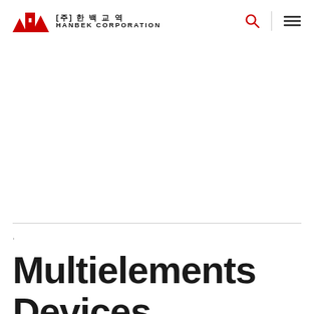[주] 한 백 교 역 HANBEK CORPORATION
Multielements Devices